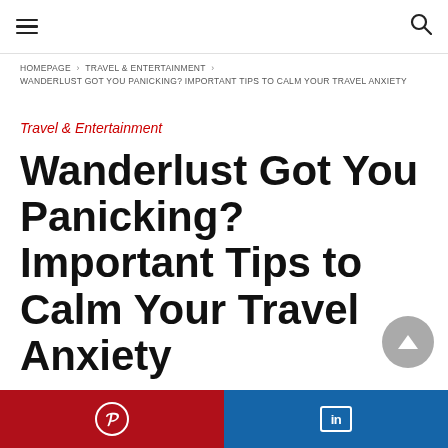≡  🔍
HOMEPAGE › TRAVEL & ENTERTAINMENT › WANDERLUST GOT YOU PANICKING? IMPORTANT TIPS TO CALM YOUR TRAVEL ANXIETY
Travel & Entertainment
Wanderlust Got You Panicking? Important Tips to Calm Your Travel Anxiety